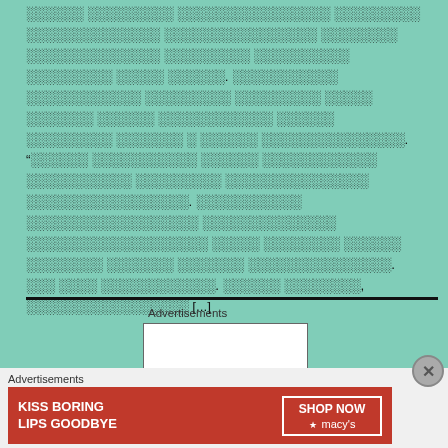░░░░░░ ░░░░░░░░░ ░░░░░░░░░░░░░░░░ ░░░░░░░░░ ░░░░░░░░░░░░░░ ░░░░░░░░░░░░░░░░ ░░░░░░░░ ░░░░░░░░░░░ ░░░░░░░ ░░░░░░░░░░ ░░░░░░░░░ ░░░░░ ░░░░░░. ░░░░░░░░░░░ ░░░░░░░░░░░░ ░░░░░░░░░ ░░░░░░░░░ ░░░░░ ░░░░░░░ ░░░░░░ ░░░░░░░░░░░░ ░░░░░░ ░░░░░░░░░ ░░░░░░░ ░ ░░░░░░ ░░░░░░░░░░░░░░░. “░░░░░░ ░░░░░░░░░░░ ░░░░░░ ░░░░░░░░░░░░ ░░░░░░░░░░░ ░░░░░░░░░ ░░░░░░░░░░░░░░░ ░░░░░░░░░░░░░░░░░. ░░░░░░░░░░░ ░░░░░░░░░░░░░░░░░░ ░░░░░░░░░░░░░░ ░░░░░░░░░░░░░░░░░░░ ░░░░░ ░░░░░░░░ ░░░░░░ ░░░░░░░░ ░░░░░░░ ░░░░░░░ ░░░░░░░░░░░░░░░. ░░░ ░░░░ ░░░░░░░░░░░░. ░░░░░░ ░░░░░░░░, ░░░░░░░░░░░░░░░░░ [...]
[Figure (screenshot): Advertisement box with white background and border]
Advertisements
[Figure (photo): Macy's advertisement banner: KISS BORING LIPS GOODBYE with SHOP NOW button and Macy's logo on red background]
Advertisements